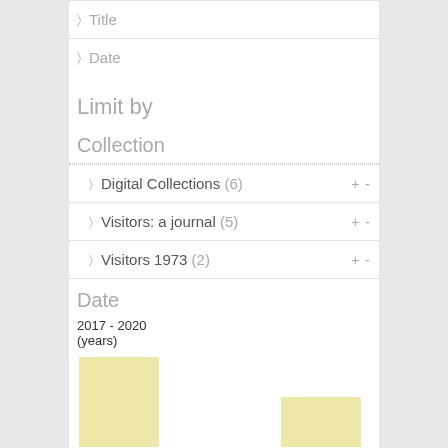Title
Date
Limit by
Collection
Digital Collections (6)
Visitors: a journal (5)
Visitors 1973 (2)
Date
2017 - 2020
(years)
[Figure (bar-chart): Date range 2017-2020]